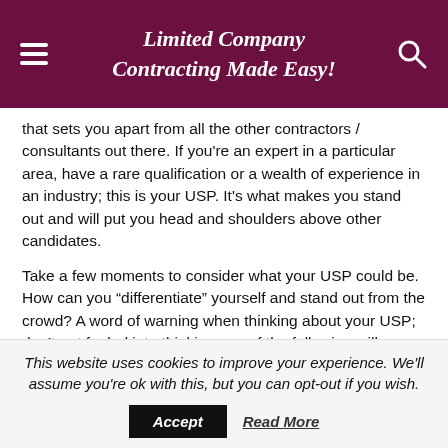Limited Company Contracting Made Easy!
that sets you apart from all the other contractors / consultants out there. If you're an expert in a particular area, have a rare qualification or a wealth of experience in an industry; this is your USP. It's what makes you stand out and will put you head and shoulders above other candidates.
Take a few moments to consider what your USP could be. How can you “differentiate” yourself and stand out from the crowd? A word of warning when thinking about your USP; don’t get fooled into thinking any of the following will suffice as a “differentiator”:
Best price
This website uses cookies to improve your experience. We'll assume you're ok with this, but you can opt-out if you wish.